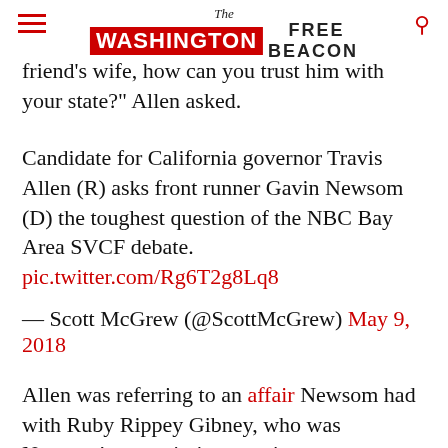The Washington Free Beacon
friend's wife, how can you trust him with your state?" Allen asked.
Candidate for California governor Travis Allen (R) asks front runner Gavin Newsom (D) the toughest question of the NBC Bay Area SVCF debate. pic.twitter.com/Rg6T2g8Lq8
— Scott McGrew (@ScottMcGrew) May 9, 2018
Allen was referring to an affair Newsom had with Ruby Rippey Gibney, who was Newsom's commission appointments secretary. Rippey